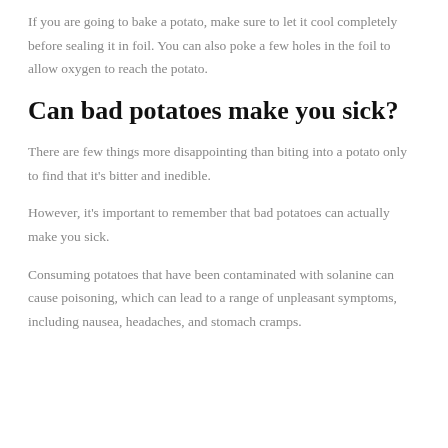If you are going to bake a potato, make sure to let it cool completely before sealing it in foil. You can also poke a few holes in the foil to allow oxygen to reach the potato.
Can bad potatoes make you sick?
There are few things more disappointing than biting into a potato only to find that it's bitter and inedible.
However, it's important to remember that bad potatoes can actually make you sick.
Consuming potatoes that have been contaminated with solanine can cause poisoning, which can lead to a range of unpleasant symptoms, including nausea, headaches, and stomach cramps.